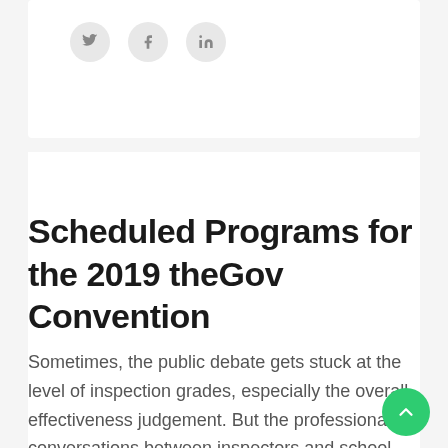[Figure (other): Social media share icons: Twitter (bird), Facebook (f), LinkedIn (in) in grey circles on white card background]
Scheduled Programs for the 2019 theGov Convention
Sometimes, the public debate gets stuck at the level of inspection grades, especially the overall effectiveness judgement. But the professional conversations between inspectors and school leaders are where the greatest